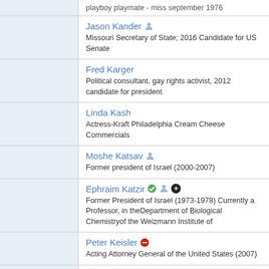playboy playmate - miss september 1976
Jason Kander — Missouri Secretary of State; 2016 Candidate for US Senate
Fred Karger — Political consultant, gay rights activist, 2012 candidate for president
Linda Kash — Actress-Kraft Philadelphia Cream Cheese Commercials
Moshe Katsav — Former president of Israel (2000-2007)
Ephraim Katzir — Former President of Israel (1973-1978) Currently a Professor, in theDepartment of Biological Chemistryof the Weizmann Institute of
Peter Keisler — Acting Attorney General of the United States (2007)
Joseph P. Kennedy III. — U.S. Congressman (4th CD) from Massachusetts. Son of Joseph P. Kennedy II, grandson of Ethel Kennedy and the late Robert F. Kennedy.
Jim King (2)